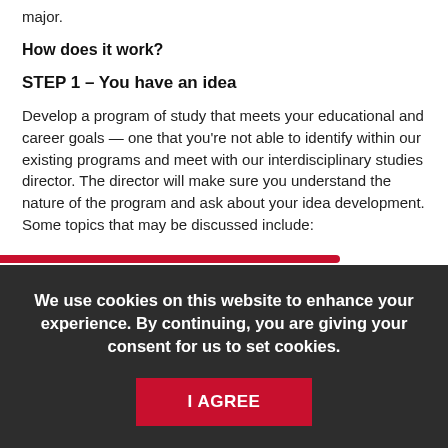major.
How does it work?
STEP 1 – You have an idea
Develop a program of study that meets your educational and career goals — one that you're not able to identify within our existing programs and meet with our interdisciplinary studies director. The director will make sure you understand the nature of the program and ask about your idea development. Some topics that may be discussed include:
We use cookies on this website to enhance your experience. By continuing, you are giving your consent for us to set cookies.